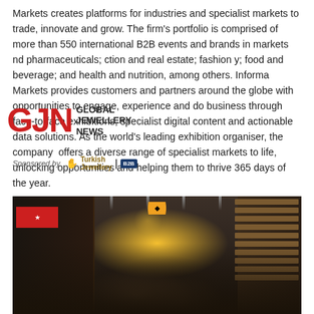Markets creates platforms for industries and specialist markets to trade, innovate and grow. The firm's portfolio is comprised of more than 550 international B2B events and brands in markets nd pharmaceuticals; ction and real estate; fashion y; food and beverage; and health and nutrition, among others. Informa Markets provides customers and partners around the globe with opportunities to engage, experience and do business through face-to-face exhibitions, specialist digital content and actionable data solutions. As the world's leading exhibition organiser, the company offers a diverse range of specialist markets to life, unlocking opportunities and helping them to thrive 365 days of the year.
[Figure (logo): GJN Global Jewellery News logo with red bold GJN letters and black text]
[Figure (logo): Sponsored by Turkish Jewellery B2B badge]
[Figure (photo): Exhibition hall with crowds of people walking between booths, overhead lighting, a yellow diamond-shaped sign visible in the background]